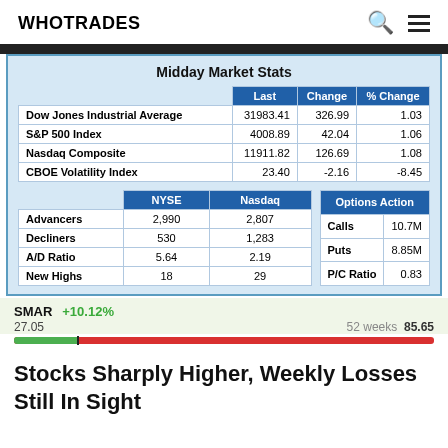WHOTRADES
|  | Last | Change | % Change |
| --- | --- | --- | --- |
| Dow Jones Industrial Average | 31983.41 | 326.99 | 1.03 |
| S&P 500 Index | 4008.89 | 42.04 | 1.06 |
| Nasdaq Composite | 11911.82 | 126.69 | 1.08 |
| CBOE Volatility Index | 23.40 | -2.16 | -8.45 |
|  | NYSE | Nasdaq |
| --- | --- | --- |
| Advancers | 2,990 | 2,807 |
| Decliners | 530 | 1,283 |
| A/D Ratio | 5.64 | 2.19 |
| New Highs | 18 | 29 |
| Options Action |  |
| --- | --- |
| Calls | 10.7M |
| Puts | 8.85M |
| P/C Ratio | 0.83 |
SMAR +10.12%  27.05  52 weeks  85.65
Stocks Sharply Higher, Weekly Losses Still In Sight